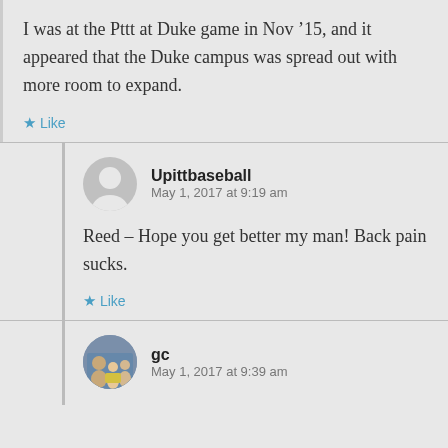I was at the Pttt at Duke game in Nov '15, and it appeared that the Duke campus was spread out with more room to expand.
★ Like
Upittbaseball
May 1, 2017 at 9:19 am
Reed – Hope you get better my man! Back pain sucks.
★ Like
gc
May 1, 2017 at 9:39 am